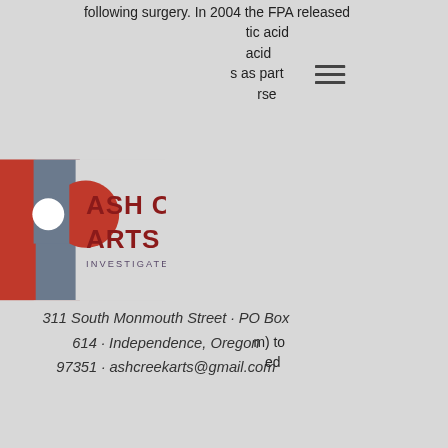following surgery. In 2004 the FPA released tic acid acid s as part se m) to ed
[Figure (logo): Ash Creek Arts Center logo with red and grey geometric design, text reading ASH CREEK ARTS CENTER, INVESTIGATE · EDUCATE · CREATE]
311 South Monmouth Street · PO Box 614 · Independence, Oregon 97351 · ashcreekarts@gmail.com
different classes of anabolic steroids in its list of steroids that must be used in "medical need:"
Class III: This class of steroids has been shown in at least 10 double-blind, placebo-controlled Phase II trials to be as safe as anabolic steroids normally are and may be used in the treatment of non-cancer diseases. Class IV: This class of steroids includes mescaline (an amino acid synthesized during a single-celled